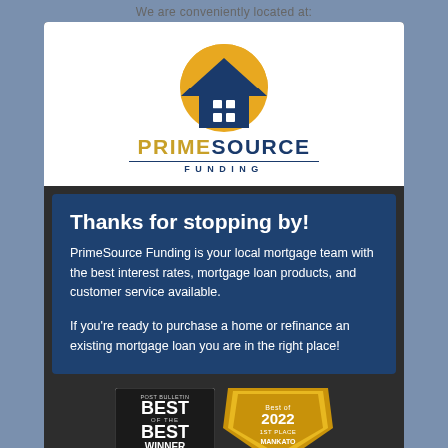We are conveniently located at:
[Figure (logo): PrimeSource Funding logo: half-circle sun in gold/yellow over a blue house shape with white window grid, with PRIMESOURCE FUNDING wordmark below]
Thanks for stopping by!
PrimeSource Funding is your local mortgage team with the best interest rates, mortgage loan products, and customer service available.
If you're ready to purchase a home or refinance an existing mortgage loan you are in the right place!
[Figure (illustration): Two award badges: Post Bulletin Best of the Best Winner badge on the left, and Best of 2022 1st Place Mankato Magazine badge on the right]